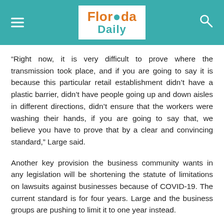Florida Daily
“Right now, it is very difficult to prove where the transmission took place, and if you are going to say it is because this particular retail establishment didn’t have a plastic barrier, didn’t have people going up and down aisles in different directions, didn’t ensure that the workers were washing their hands, if you are going to say that, we believe you have to prove that by a clear and convincing standard,” Large said.
Another key provision the business community wants in any legislation will be shortening the statute of limitations on lawsuits against businesses because of COVID-19. The current standard is for four years. Large and the business groups are pushing to limit it to one year instead.
Large told Florida Daily if left at four years, “businesses are